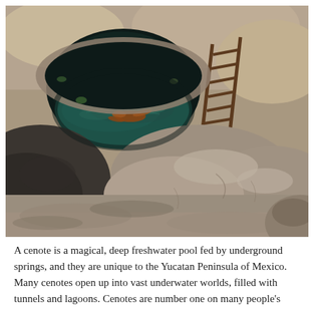[Figure (photo): Aerial view of a cenote — a circular natural freshwater pool set into rocky limestone terrain. A person is swimming in the dark teal water. A wooden ladder descends from the rocky rim into the pool on the upper right side. Surrounding rocks are light grey/beige limestone with scattered vegetation.]
A cenote is a magical, deep freshwater pool fed by underground springs, and they are unique to the Yucatan Peninsula of Mexico. Many cenotes open up into vast underwater worlds, filled with tunnels and lagoons. Cenotes are number one on many people's